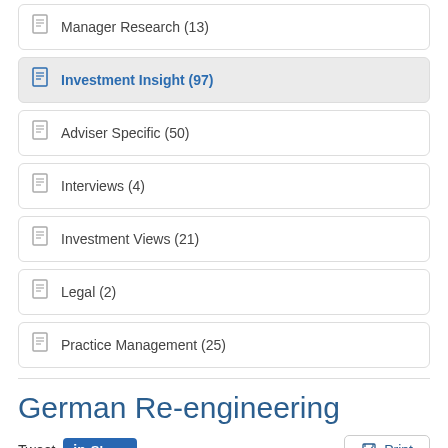Manager Research (13)
Investment Insight (97)
Adviser Specific (50)
Interviews (4)
Investment Views (21)
Legal (2)
Practice Management (25)
German Re-engineering
Tweet  Share  Print
Published: October 26, 2015 by Jan Jones, Fundhouse